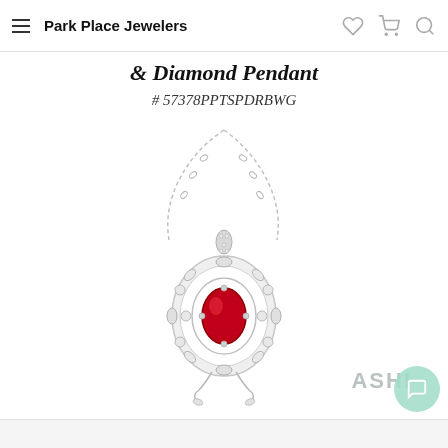Park Place Jewelers
& Diamond Pendant
# 57378PPTSPDRBWG
[Figure (photo): A white gold pendant necklace featuring a vibrant oval ruby center stone surrounded by a decorative diamond-accented halo with ornate floral scroll design, hanging on a delicate chain. ASHI brand watermark visible in lower right.]